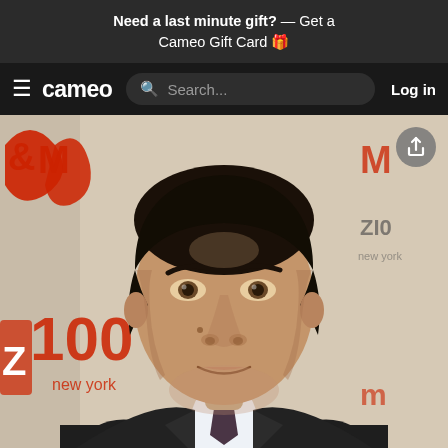Need a last minute gift? — Get a Cameo Gift Card 🎁
≡ cameo   🔍 Search...   Log in
[Figure (photo): Headshot of a man in a dark suit with a dark tie, white dress shirt, at an event with M&M and Z100 New York branded backdrop]